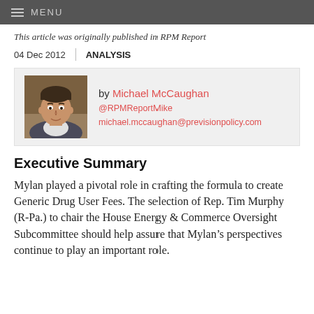MENU
This article was originally published in RPM Report
04 Dec 2012  ANALYSIS
[Figure (photo): Headshot photo of Michael McCaughan, a man with dark hair.]
by Michael McCaughan
@RPMReportMike
michael.mccaughan@previsionpolicy.com
Executive Summary
Mylan played a pivotal role in crafting the formula to create Generic Drug User Fees. The selection of Rep. Tim Murphy (R-Pa.) to chair the House Energy & Commerce Oversight Subcommittee should help assure that Mylan’s perspectives continue to play an important role.